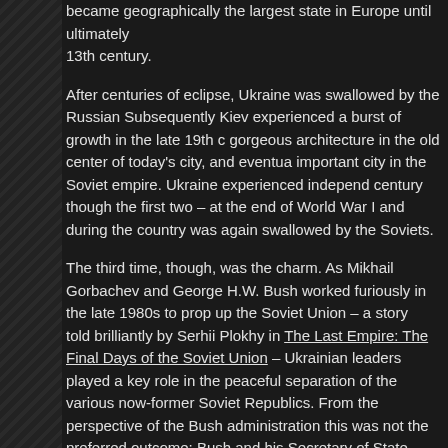became geographically the largest state in Europe until ultimately 13th century.
After centuries of eclipse, Ukraine was swallowed by the Russian Subsequently Kiev experienced a burst of growth in the late 19th gorgeous architecture in the old center of today's city, and eventua important city in the Soviet empire. Ukraine experienced independ century though the first two – at the end of World War I and during the country was again swallowed by the Soviets.
The third time, though, was the charm. As Mikhail Gorbachev and George H.W. Bush worked furiously in the late 1980s to prop up the Soviet Union – a story told brilliantly by Serhii Plokhy in The Last Empire: The Final Days of the Soviet Union – Ukrainian leaders played a key role in the peaceful separation of the various now-former Soviet Republics. From the perspective of the Bush administration this was not the preferred outcome; Bush and his Secretary of State
[Figure (photo): Photo of trees and sky, Kiev area]